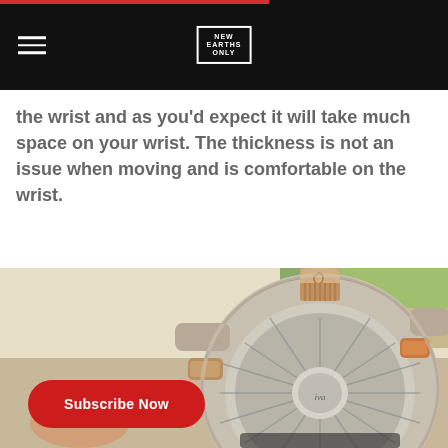NEW EARTHS ONLY — navigation bar with logo
the wrist and as you'd expect it will take much space on your wrist. The thickness is not an issue when moving and is comfortable on the wrist.
[Figure (photo): Close-up photograph of the back case of a luxury watch, showing a detailed caseback with engravings and crown/pusher details, placed on what appears to be a magazine or paper surface.]
Subscribe Now